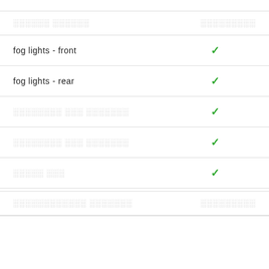| Feature | Value |
| --- | --- |
| ░░░░░░ ░░░░░░ | ░░░░░░░░░ |
| fog lights - front | ✓ |
| fog lights - rear | ✓ |
| ░░░░░░░░ ░░░ ░░░░░░░ | ✓ |
| ░░░░░░░░ ░░░ ░░░░░░░ | ✓ |
| ░░░░░ ░░░ | ✓ |
| ░░░░░░░░░░░░ ░░░░░░░ | ░░░░░░░░░ |